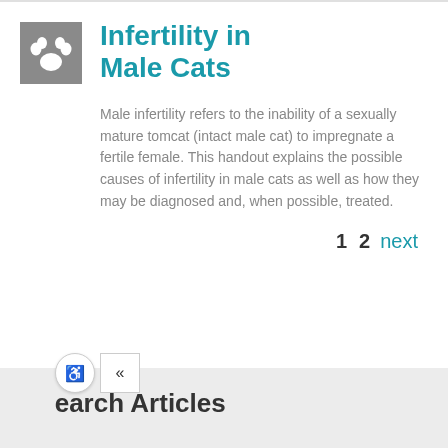Infertility in Male Cats
Male infertility refers to the inability of a sexually mature tomcat (intact male cat) to impregnate a fertile female. This handout explains the possible causes of infertility in male cats as well as how they may be diagnosed and, when possible, treated.
1  2  next
Search Articles